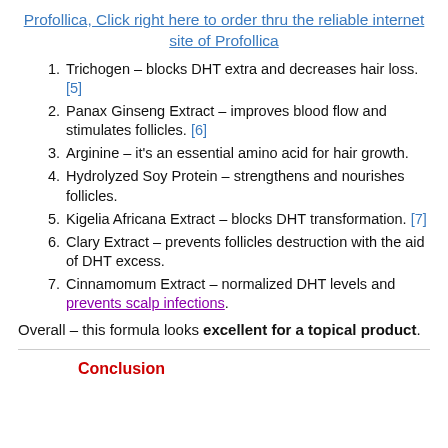Profollica, Click right here to order thru the reliable internet site of Profollica
Trichogen – blocks DHT extra and decreases hair loss. [5]
Panax Ginseng Extract – improves blood flow and stimulates follicles. [6]
Arginine – it's an essential amino acid for hair growth.
Hydrolyzed Soy Protein – strengthens and nourishes follicles.
Kigelia Africana Extract – blocks DHT transformation. [7]
Clary Extract – prevents follicles destruction with the aid of DHT excess.
Cinnamomum Extract – normalized DHT levels and prevents scalp infections.
Overall – this formula looks excellent for a topical product.
Conclusion